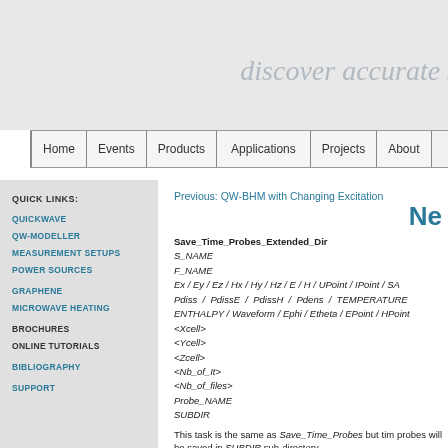discover accurate s...
Home | Events | Products | Applications | Projects | About
Previous: QW-BHM with Changing Excitation
Ne
Save_Time_Probes_Extended_Dir
S_NAME
F_NAME
Ex / Ey / Ez / Hx / Hy / Hz / E / H / UPoint / IPoint / SA...
Pdiss / PdissE / PdissH / Pdens / TEMPERATURE...
ENTHALPY / Waveform / Ephi / Etheta / EPoint / HPoint...
<Xcell>
<Ycell>
<Zcell>
<Nb_of_It>
<Nb_of_files>
Probe_NAME
SUBDIR
This task is the same as Save_Time_Probes but time probes will be saved in SUBDIR sub-directory.
View_Fields_Monitor_3D
Dummy
Quick Links:
QUICKWAVE
QW-MODELLER
MEASUREMENT SETUPS
POWER SOURCES
GRAPHENE
MICROWAVE HEATING
BROCHURES
ONLINE TUTORIALS
BIBLIOGRAPHY
SUPPORT